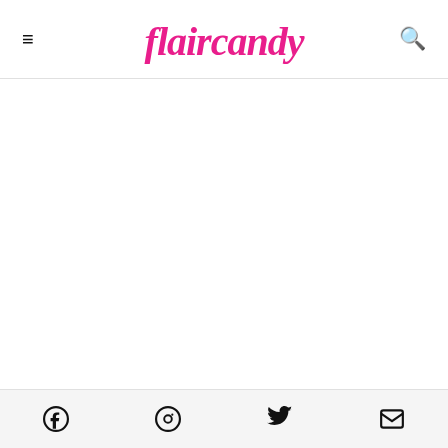flaircandy
[Figure (photo): Large white/blank image area below header, article image placeholder]
I usually don't like walking around the city during
Social icons: Facebook, Pinterest, Twitter, Email